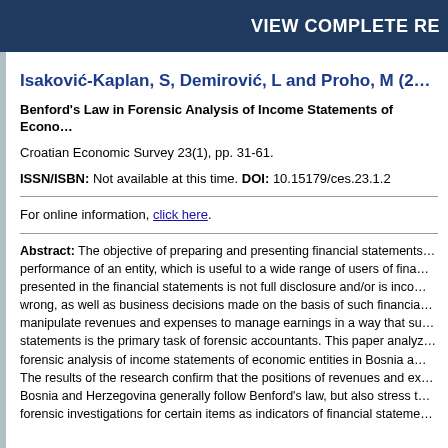VIEW COMPLETE RE
Isaković-Kaplan, S, Demirović, L and Proho, M (2…
Benford's Law in Forensic Analysis of Income Statements of Econo…
Croatian Economic Survey 23(1), pp. 31-61.
ISSN/ISBN: Not available at this time. DOI: 10.15179/ces.23.1.2
For online information, click here.
Abstract: The objective of preparing and presenting financial statements… performance of an entity, which is useful to a wide range of users of fina… presented in the financial statements is not full disclosure and/or is inco… wrong, as well as business decisions made on the basis of such financia… manipulate revenues and expenses to manage earnings in a way that su… statements is the primary task of forensic accountants. This paper analyz… forensic analysis of income statements of economic entities in Bosnia a… The results of the research confirm that the positions of revenues and ex… Bosnia and Herzegovina generally follow Benford's law, but also stress t… forensic investigations for certain items as indicators of financial stateme…